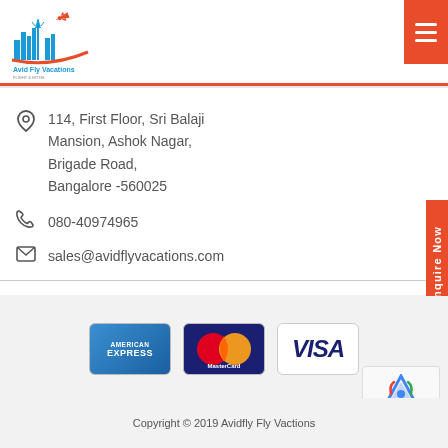[Figure (logo): Avid Fly Vacations logo with travel landmarks silhouette in blue and red]
114, First Floor, Sri Balaji Mansion, Ashok Nagar, Brigade Road, Bangalore -560025
080-40974965
sales@avidflyvacations.com
[Figure (other): Payment method logos: American Express, MasterCard, Visa]
Copyright © 2019 Avidfly Fly Vactions